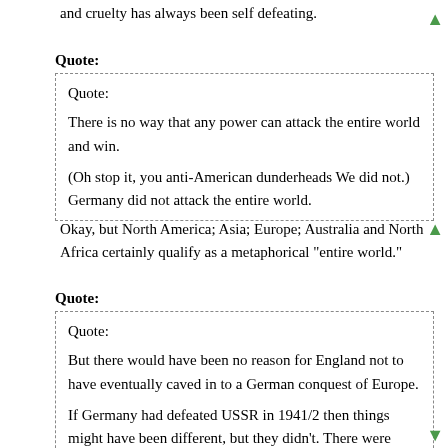and cruelty has always been self defeating.
Quote:
Quote:

There is no way that any power can attack the entire world and win.

(Oh stop it, you anti-American dunderheads We did not.) Germany did not attack the entire world.
Okay, but North America; Asia; Europe; Australia and North Africa certainly qualify as a metaphorical "entire world."
Quote:
Quote:

But there would have been no reason for England not to have eventually caved in to a German conquest of Europe.

If Germany had defeated USSR in 1941/2 then things might have been different, but they didn't. There were some people in